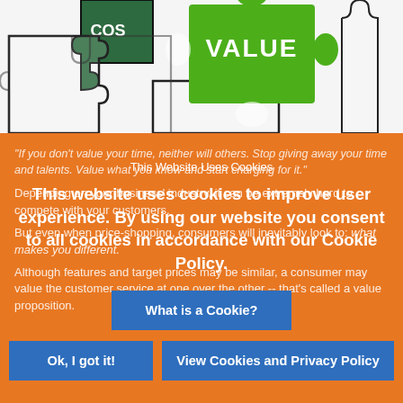[Figure (illustration): Puzzle pieces in dark green and bright green colors. One bright green piece labeled 'VALUE' fitting into darker puzzle pieces. One dark green piece partially visible at top labeled 'COS' (cost). Black outline puzzle pieces visible around them on white background.]
"If you don't value your time, neither will others. Stop giving away your time and talents. Value what you know and start charging for it."
Depending on your business' industry, it can be extremely hard to compete with your customers.
But even when price-shopping, consumers will inevitably look to: what makes you different.
Although features and target prices may be similar, a consumer may value the customer service at one over the other -- that's called a value proposition.
This Website Uses Cookies
This website uses cookies to improve user experience. By using our website you consent to all cookies in accordance with our Cookie Policy.